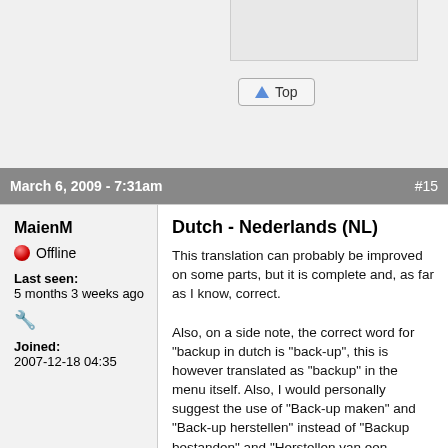[Figure (screenshot): Top section of a forum page showing a button labeled 'Top' with an upward arrow icon, and a gray content area.]
March 6, 2009 - 7:31am  #15
MaienM
Offline
Last seen:
5 months 3 weeks ago
Joined:
2007-12-18 04:35
Dutch - Nederlands (NL)
This translation can probably be improved on some parts, but it is complete and, as far as I know, correct.
Also, on a side note, the correct word for "backup in dutch is "back-up", this is however translated as "backup" in the menu itself. Also, I would personally suggest the use of "Back-up maken" and "Back-up herstellen" instead of "Backup bestanden" and "Herstellen van een backup" in the menu, but that are things that are probably best discussed somewhere else.